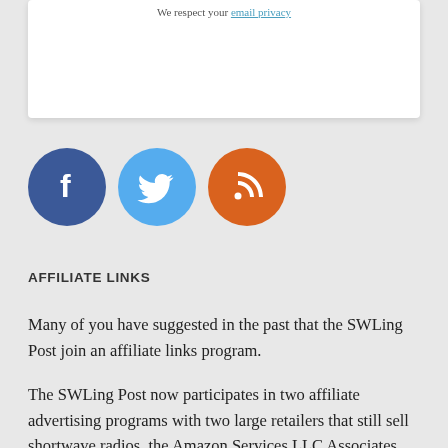We respect your email privacy
[Figure (illustration): Three social media icon circles: Facebook (dark blue with F logo), Twitter (light blue with bird logo), RSS (orange with signal waves logo)]
AFFILIATE LINKS
Many of you have suggested in the past that the SWLing Post join an affiliate links program.
The SWLing Post now participates in two affiliate advertising programs with two large retailers that still sell shortwave radios, the Amazon Services LLC Associates Program and the eBay